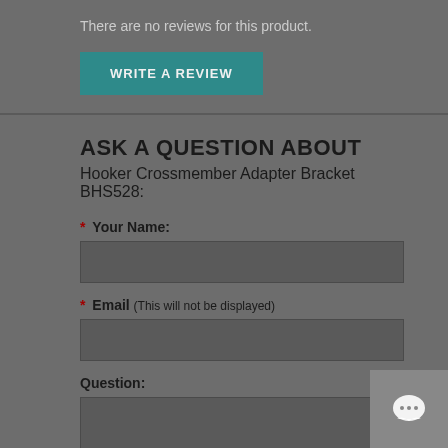There are no reviews for this product.
WRITE A REVIEW
ASK A QUESTION ABOUT Hooker Crossmember Adapter Bracket BHS528:
* Your Name:
* Email (This will not be displayed)
Question: